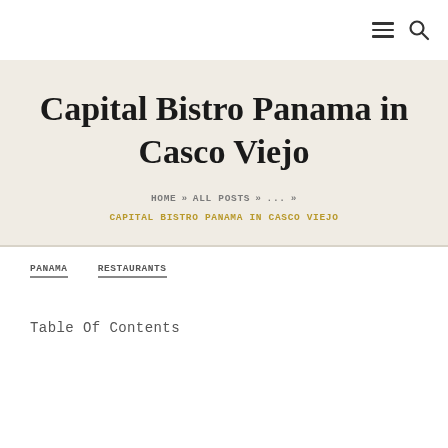≡ 🔍
Capital Bistro Panama in Casco Viejo
HOME » ALL POSTS » ... »
CAPITAL BISTRO PANAMA IN CASCO VIEJO
PANAMA    RESTAURANTS
Table Of Contents